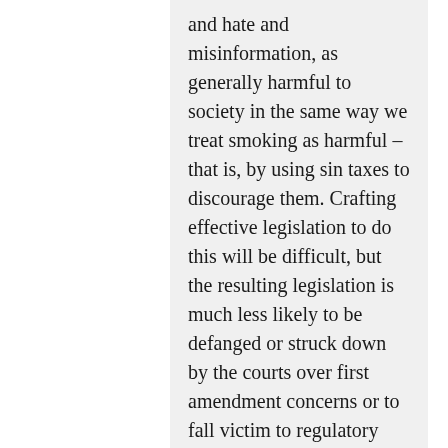and hate and misinformation, as generally harmful to society in the same way we treat smoking as harmful – that is, by using sin taxes to discourage them. Crafting effective legislation to do this will be difficult, but the resulting legislation is much less likely to be defanged or struck down by the courts over first amendment concerns or to fall victim to regulatory capture. https://adtax.paulromer.net/